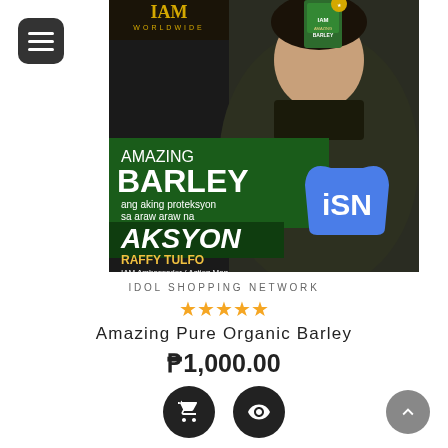[Figure (photo): Advertisement for Amazing Pure Organic Barley product by IAM Worldwide, featuring endorser Raffy Tulfo holding a green product box with text: AMAZING BARLEY ang aking proteksyon sa araw araw na AKSYON, and iSN (Idol Shopping Network) bag logo visible.]
IDOL SHOPPING NETWORK
[Figure (other): 5 gold/yellow star rating icons]
Amazing Pure Organic Barley
₱1,000.00
[Figure (other): Two circular dark buttons: a shopping cart icon and an eye/view icon]